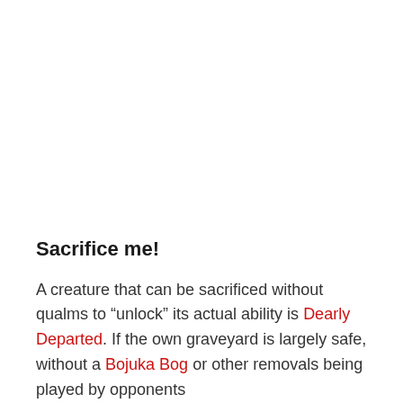Sacrifice me!
A creature that can be sacrificed without qualms to “unlock” its actual ability is Dearly Departed. If the own graveyard is largely safe, without a Bojuka Bog or other removals being played by opponents